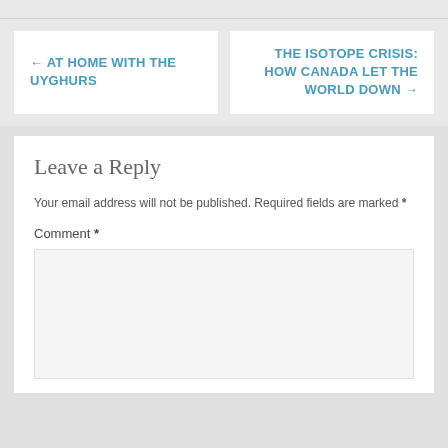← AT HOME WITH THE UYGHURS
THE ISOTOPE CRISIS: HOW CANADA LET THE WORLD DOWN →
Leave a Reply
Your email address will not be published. Required fields are marked *
Comment *